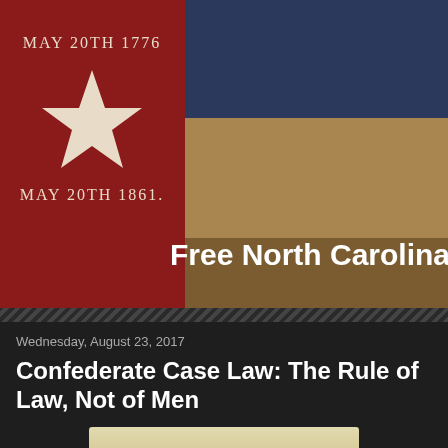[Figure (photo): Historical North Carolina flag with red field, white star, text MAY 20TH 1776 and MAY 20TH 1861 arranged in circle, overlaid with blue and tan/brown horizontal stripes on right side. White bold text reading 'Free North Carolina' overlaid on lower right.]
Free North Carolina
Wednesday, August 23, 2017
Confederate Case Law: The Rule of Law, Not of Men
[Figure (photo): Partial view of a figure in historical attire at the bottom of the page.]